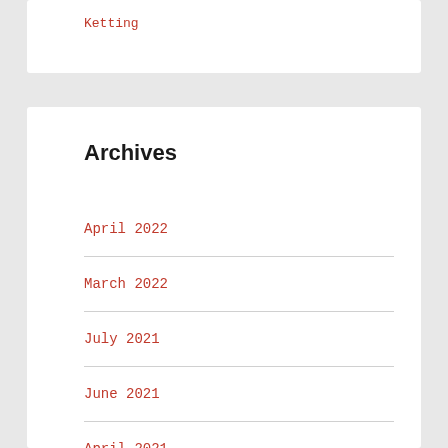Ketting
Archives
April 2022
March 2022
July 2021
June 2021
April 2021
February 2021